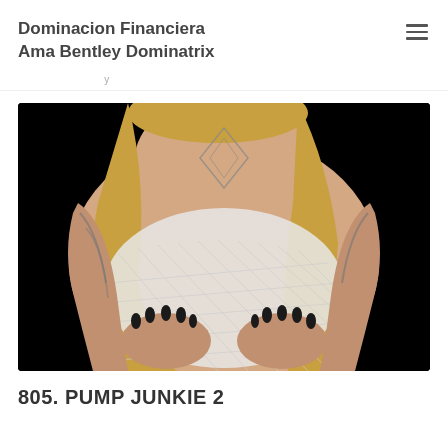Dominacion Financiera Ama Bentley Dominatrix
[Figure (photo): A tattooed blonde woman wearing a white fishnet top against a black background, shown from neck to waist, holding her chest with both hands with dark painted nails.]
805. PUMP JUNKIE 2